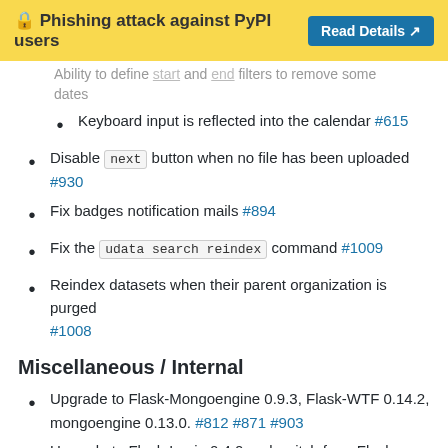🔒 Phishing attack against PyPI users  Read Details
Ability to define 'start' and 'end' filters to remove some dates
Keyboard input is reflected into the calendar #615
Disable next button when no file has been uploaded #930
Fix badges notification mails #894
Fix the udata search reindex command #1009
Reindex datasets when their parent organization is purged #1008
Miscellaneous / Internal
Upgrade to Flask-Mongoengine 0.9.3, Flask-WTF 0.14.2, mongoengine 0.13.0. #812 #871 #903
Upgrade to Flask-Login 0.4.0 and switch from Flask-Security to the latest Flask-Security-Fork #813
Migrated remaining widgets to Vue.js #828: